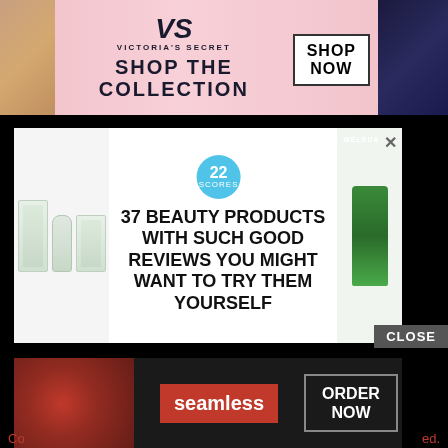[Figure (screenshot): Victoria's Secret advertisement banner with pink background, VS monogram logo, 'SHOP THE COLLECTION' text, 'SHOP NOW' button, female model on left, dark-clothed person on right]
[Figure (screenshot): Beauty products advertisement with white background showing Cetaphil and Weleda products, '22' badge in teal circle, text '37 BEAUTY PRODUCTS WITH SUCH GOOD REVIEWS YOU MIGHT WANT TO TRY THEM YOURSELF', with close X button]
ABOUT
STAFF
CONTACT US
ADVERTISE WITH US
[Figure (screenshot): Seamless food delivery advertisement with pizza image, red Seamless logo, 'ORDER NOW' button, 'CLOSE' button above]
Co...ed.